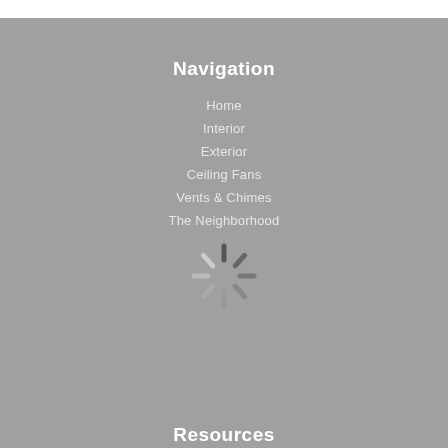Navigation
Home
Interior
Exterior
Ceiling Fans
Vents & Chimes
The Neighborhood
[Figure (other): Loading spinner icon overlaid on navigation list]
Resources
Dealer Login
Catalogs & Lookbooks
Our Story
Showroom Virtual Tour
Where to Buy
Contact Us